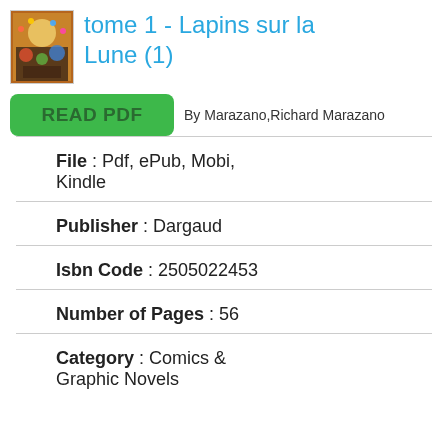[Figure (illustration): Book cover thumbnail showing colorful illustrated scene]
tome 1 - Lapins sur la Lune (1)
READ PDF
By Marazano,Richard Marazano
File : Pdf, ePub, Mobi, Kindle
Publisher : Dargaud
Isbn Code : 2505022453
Number of Pages : 56
Category : Comics & Graphic Novels